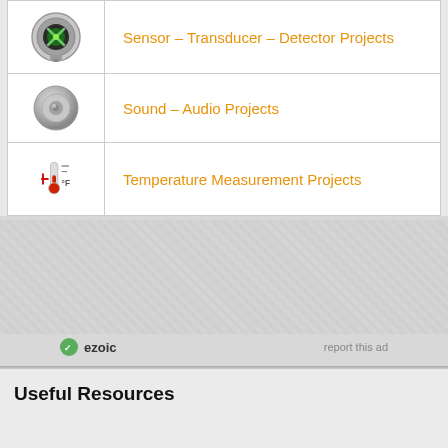Sensor – Transducer – Detector Projects
Sound – Audio Projects
Temperature Measurement Projects
[Figure (infographic): Ezoic ad section with ezoic logo and 'report this ad' link]
Useful Resources